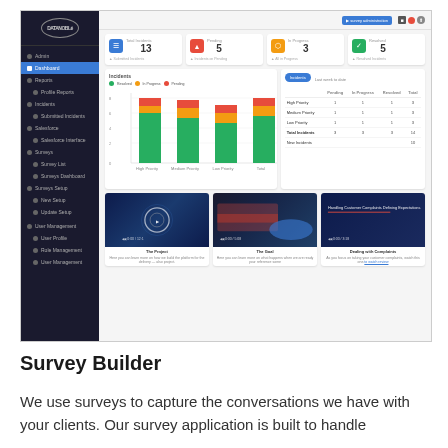[Figure (screenshot): Dashboard screenshot showing DataNoble application with sidebar navigation, stat cards, incident bar chart, incident table, and video tutorial cards]
Survey Builder
We use surveys to capture the conversations we have with your clients. Our survey application is built to handle